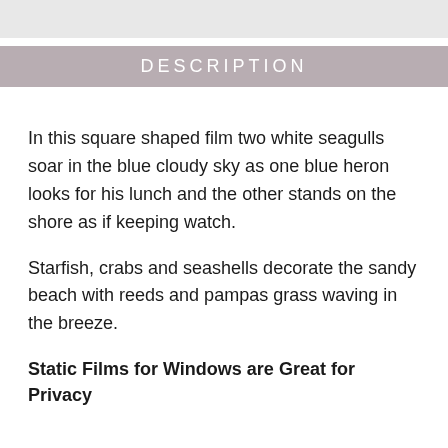[Figure (other): Gray bar at top of page]
DESCRIPTION
In this square shaped film two white seagulls soar in the blue cloudy sky as one blue heron looks for his lunch and the other stands on the shore as if keeping watch.
Starfish, crabs and seashells decorate the sandy beach with reeds and pampas grass waving in the breeze.
Static Films for Windows are Great for Privacy